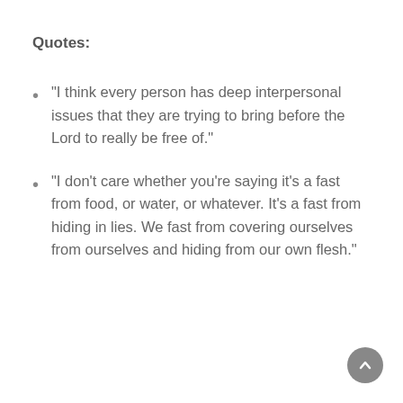Quotes:
“I think every person has deep interpersonal issues that they are trying to bring before the Lord to really be free of.”
“I don’t care whether you’re saying it’s a fast from food, or water, or whatever. It’s a fast from hiding in lies. We fast from covering ourselves from ourselves and hiding from our own flesh.”